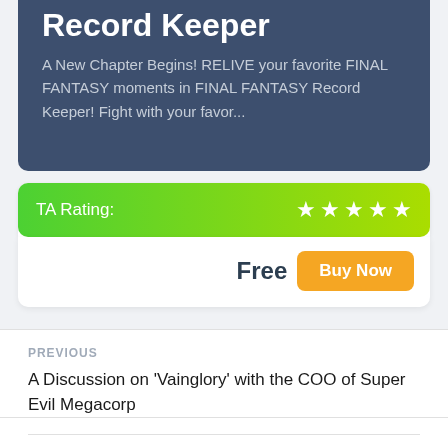Record Keeper
A New Chapter Begins! RELIVE your favorite FINAL FANTASY moments in FINAL FANTASY Record Keeper! Fight with your favor...
TA Rating: ★★★★★
Free  Buy Now
PREVIOUS
A Discussion on 'Vainglory' with the COO of Super Evil Megacorp
NEXT
Luca Redwood's '10000000' Development Notes – From [Emit Nigel Style Session Cameraets the Punch BRG Web...